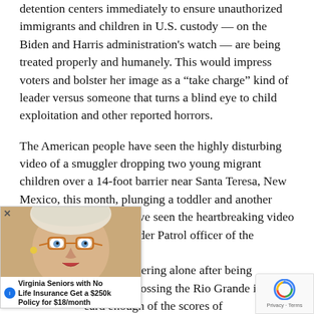detention centers immediately to ensure unauthorized immigrants and children in U.S. custody — on the Biden and Harris administration's watch — are being treated properly and humanely. This would impress voters and bolster her image as a “take charge” kind of leader versus someone that turns a blind eye to child exploitation and other reported horrors.
The American people have seen the highly disturbing video of a smuggler dropping two young migrant children over a 14-foot barrier near Santa Teresa, New Mexico, this month, plunging a toddler and another child to the ground. We’ve seen the heartbreaking video [obscured] a U.S. Border Patrol officer of the sobbing, [obscured]d boy wandering alone after being [obscured]tes while crossing the Rio Grande in [obscured]eard enough of the scores of [obscured]migrants being physically and s[obscured], en route to the United States.
[Figure (photo): Advertisement overlay showing an elderly woman with glasses and an ad for life insurance: 'Virginia Seniors with No Life Insurance Get a $250k Policy for $18/month', Sponsored by Smart Lifestyle Trends]
[Figure (other): reCAPTCHA badge in bottom right corner showing Google reCAPTCHA logo and 'Privacy - Terms' text]